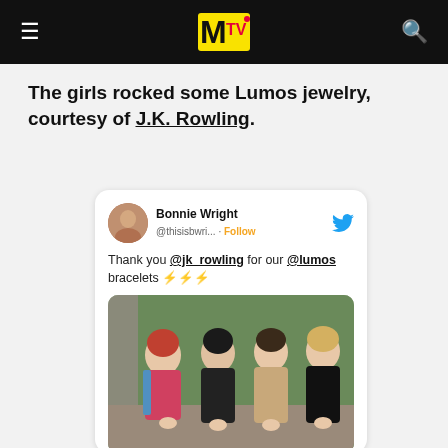MTV (logo navigation bar)
The girls rocked some Lumos jewelry, courtesy of J.K. Rowling.
[Figure (screenshot): Embedded tweet from Bonnie Wright (@thisisbwri...) with Follow button and Twitter bird icon. Tweet text: 'Thank you @jk_rowling for our @lumos bracelets ⚡⚡⚡'. Below the text is a photo of three young women standing outdoors showing their wrists/hands toward the camera, wearing colorful jackets.]